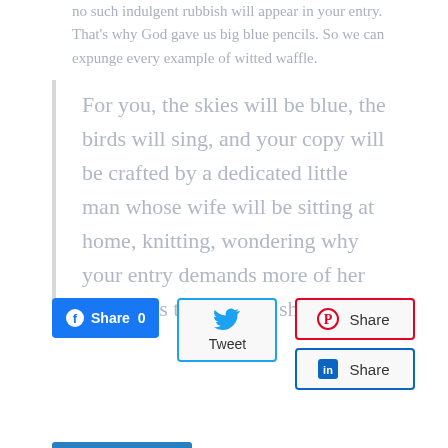no such indulgent rubbish will appear in your entry. That's why God gave us big blue pencils. So we can expunge every example of witted waffle.
For you, the skies will be blue, the birds will sing, and your copy will be crafted by a dedicated little man whose wife will be sitting at home, knitting, wondering why your entry demands more of her husband's time than it should.
[Figure (screenshot): Social share buttons: Facebook Share 0, Twitter Tweet, Pinterest Share, LinkedIn Share]